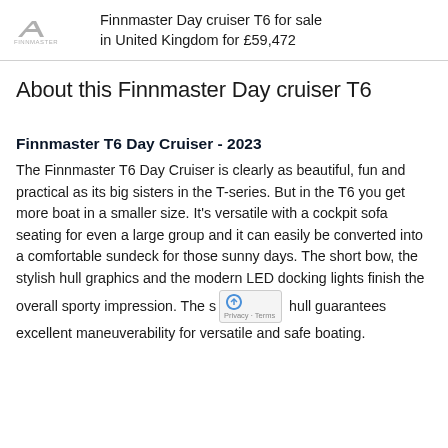Finnmaster Day cruiser T6 for sale in United Kingdom for £59,472
About this Finnmaster Day cruiser T6
Finnmaster T6 Day Cruiser - 2023
The Finnmaster T6 Day Cruiser is clearly as beautiful, fun and practical as its big sisters in the T-series. But in the T6 you get more boat in a smaller size. It's versatile with a cockpit sofa seating for even a large group and it can easily be converted into a comfortable sundeck for those sunny days. The short bow, the stylish hull graphics and the modern LED docking lights finish the overall sporty impression. The s hull guarantees excellent maneuverability for versatile and safe boating.